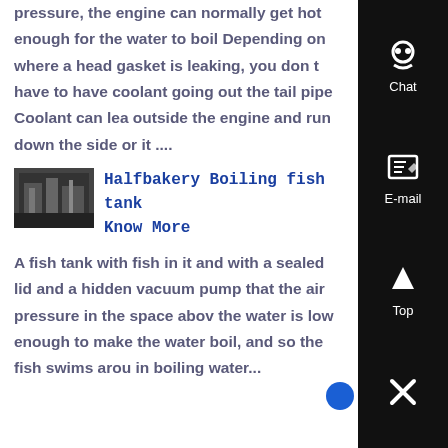pressure, the engine can normally get hot enough for the water to boil Depending on where a head gasket is leaking, you don t have to have coolant going out the tail pipe Coolant can leak outside the engine and run down the side or it ....
[Figure (photo): Small thumbnail image of what appears to be an industrial or mechanical setting, dark tones]
Halfbakery Boiling fish tank Know More
A fish tank with fish in it and with a sealed lid and a hidden vacuum pump that the air pressure in the space above the water is low enough to make the water boil, and so the fish swims around in boiling water...